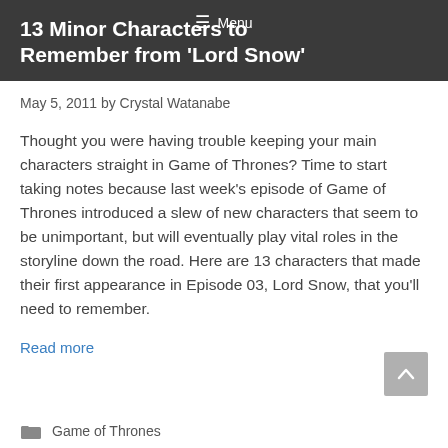13 Minor Characters to Remember from 'Lord Snow'
May 5, 2011 by Crystal Watanabe
Thought you were having trouble keeping your main characters straight in Game of Thrones? Time to start taking notes because last week’s episode of Game of Thrones introduced a slew of new characters that seem to be unimportant, but will eventually play vital roles in the storyline down the road. Here are 13 characters that made their first appearance in Episode 03, Lord Snow, that you’ll need to remember.
Read more
Game of Thrones